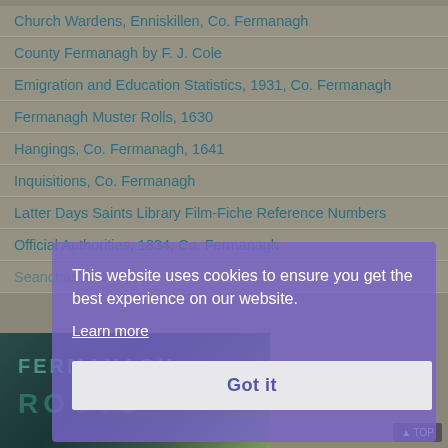Church Wardens, Enniskillen, Co. Fermanagh
County Fermanagh by F. J. Cole
Emigration and Education Statistics, 1931, Co. Fermanagh
Fermanagh Muster Rolls, 1630
Hangings, Co. Fermanagh, 1641
Inquisitions, Co. Fermanagh
Latter Days Saints Library Film-Fiche Reference Numbers
Official Authorities, 1834, Co. Fermanagh
Seanchas Ardmhaca
[Figure (photo): Book cover showing FERMANAGH ROOTS text on dark background]
This website uses cookies to ensure you get the best experience on our website.
Learn more
Got it